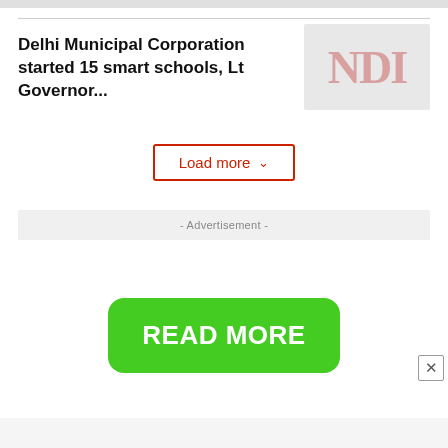Delhi Municipal Corporation started 15 smart schools, Lt Governor...
[Figure (logo): NDI logo placeholder in light gray box with pink/red NDI text]
Load more ˅
- Advertisement -
READ MORE
×